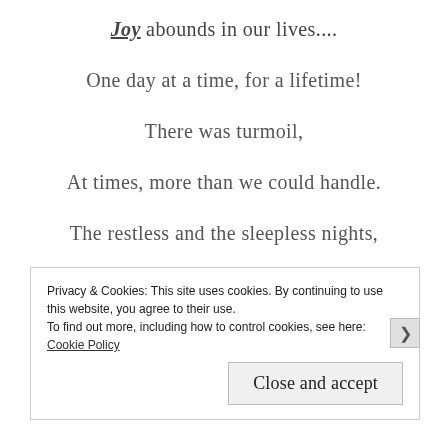Joy abounds in our lives....
One day at a time, for a lifetime!
There was turmoil,
At times, more than we could handle.
The restless and the sleepless nights,
The anxiety that never ceasse!
Privacy & Cookies: This site uses cookies. By continuing to use this website, you agree to their use. To find out more, including how to control cookies, see here: Cookie Policy
Close and accept